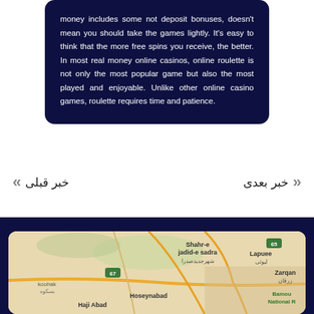money includes some not deposit bonuses, doesn't mean you should take the games lightly. It's easy to think that the more free spins you receive, the better. In most real money online casinos, online roulette is not only the most popular game but also the most played and enjoyable. Unlike other online casino games, roulette requires time and patience.
خبر بعدی
خبر قبلی
[Figure (map): Google Maps view showing Shahr-e jadid-e sadra, Lapuee, Zarqan, Hoseynabad, Haji Abad area with route 67 and 65 visible]